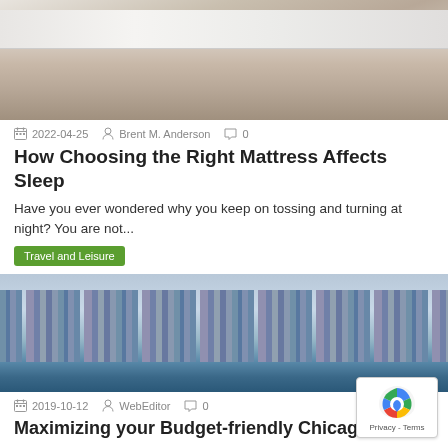[Figure (photo): Photo of a bed with a beige/tan upholstered divan base and white mattress, on a light floor with a white rug]
2022-04-25  Brent M. Anderson  0
How Choosing the Right Mattress Affects Sleep
Have you ever wondered why you keep on tossing and turning at night? You are not...
Travel and Leisure
[Figure (photo): Photo of Chicago skyline from the river, with tall skyscrapers including the Willis Tower and a boat on the water]
2019-10-12  WebEditor  0
Maximizing your Budget-friendly Chicago Trip